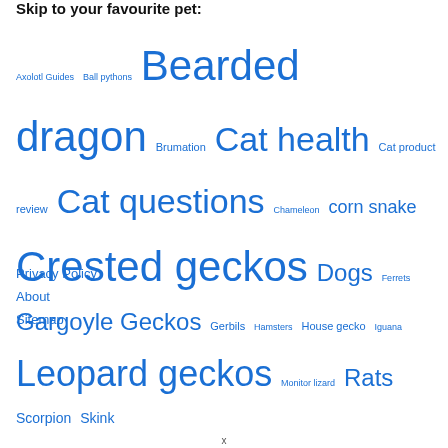Skip to your favourite pet:
Axolotl Guides  Ball pythons  Bearded dragon  Brumation  Cat health  Cat product review  Cat questions  Chameleon  corn snake  Crested geckos  Dogs  Ferrets  Gargoyle Geckos  Gerbils  Hamsters  House gecko  Iguana  Leopard geckos  Monitor lizard  Rats  Scorpion  Skink
Privacy Policy
About
Sitemap